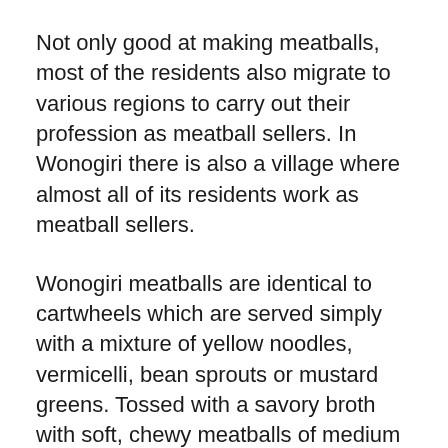Not only good at making meatballs, most of the residents also migrate to various regions to carry out their profession as meatball sellers. In Wonogiri there is also a village where almost all of its residents work as meatball sellers.
Wonogiri meatballs are identical to cartwheels which are served simply with a mixture of yellow noodles, vermicelli, bean sprouts or mustard greens. Tossed with a savory broth with soft, chewy meatballs of medium and small size.
A portion of meatball carts is also priced relatively cheaply. No more than Rp. 15 thousand for a complete bowl. Even in some areas there are still fixing the price below Rp.